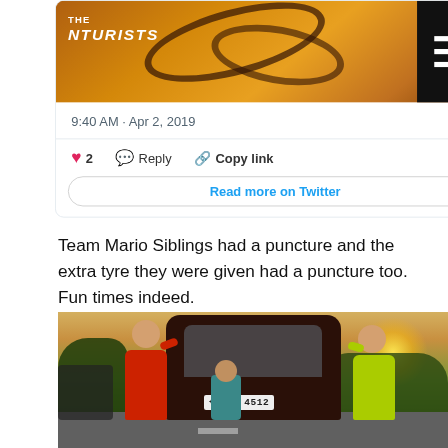[Figure (screenshot): Twitter/social media card embed showing 'THE NTURISTS' logo on a warm-toned image, with timestamp '9:40 AM · Apr 2, 2019', a heart icon with count 2, Reply button, Copy link button, and a 'Read more on Twitter' button. A hamburger menu icon appears in top-right corner.]
Team Mario Siblings had a puncture and the extra tyre they were given had a puncture too. Fun times indeed.
[Figure (photo): Outdoor photo at golden hour showing people pushing a tuk-tuk (auto-rickshaw with license plate ABE 4512) on a road. One person in red shirt on left, one in yellow on right. Tropical trees and warm sunset sky in background.]